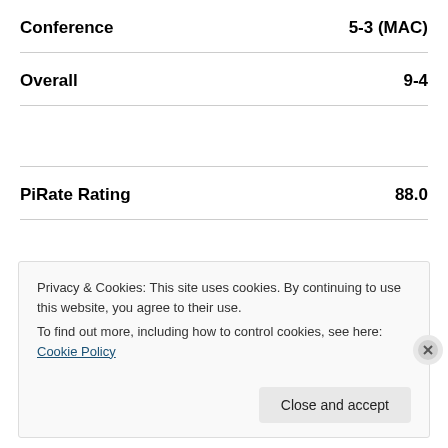Conference   5-3 (MAC)
Overall   9-4
PiRate Rating   88.0
Privacy & Cookies: This site uses cookies. By continuing to use this website, you agree to their use.
To find out more, including how to control cookies, see here: Cookie Policy
Close and accept